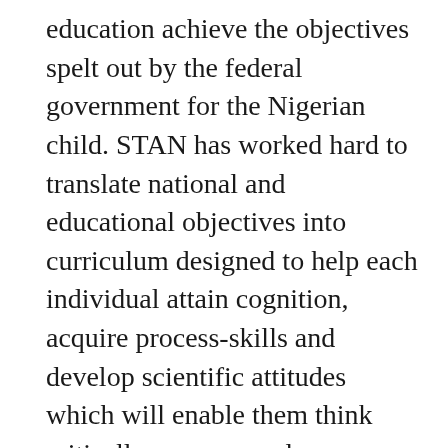education achieve the objectives spelt out by the federal government for the Nigerian child. STAN has worked hard to translate national and educational objectives into curriculum designed to help each individual attain cognition, acquire process-skills and develop scientific attitudes which will enable them think critically, manage and use available resources to effectively adapt to their environment, assume responsibilities and fulfill economic socio-political roles.

Nene (1997) maintains that the teaching of science is crucial because